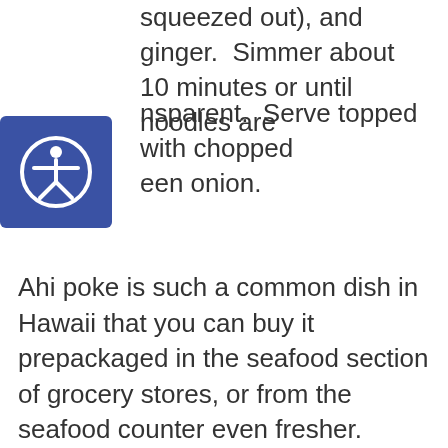squeezed out), and ginger.  Simmer about 10 minutes or until noodles are transparent.  Serve topped with chopped green onion.
Ahi poke is such a common dish in Hawaii that you can buy it prepackaged in the seafood section of grocery stores, or from the seafood counter even fresher.  Poke means “small piece” and these small pieces of raw fish with seasonings are like the Hawaiian version of the Japanese delicacy sashimi.  It is constantly evolving, in fact Sam Choy has a poke festival every year that people submit recipes to.  This was one of my auntie’s recipes.